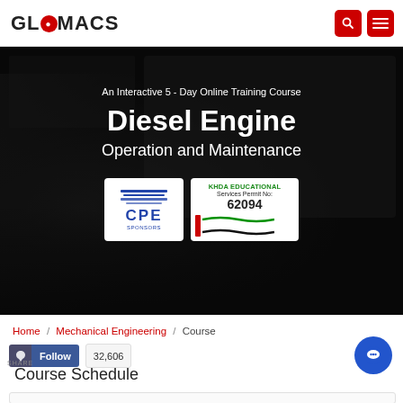GLOMACS
[Figure (screenshot): Hero banner showing online training course with laptop and people in video call background. Text overlaid: 'An Interactive 5 - Day Online Training Course / Diesel Engine / Operation and Maintenance'. Two badges shown: CPE Sponsors logo and KHDA Educational Services Permit No: 62094.]
Home / Mechanical Engineering / Course
Follow  32,606
Course Schedule